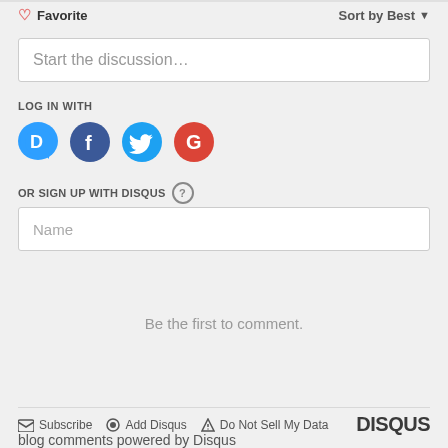♡ Favorite   Sort by Best ▼
[Figure (screenshot): Comment input box with placeholder text 'Start the discussion...']
LOG IN WITH
[Figure (infographic): Social login icons: Disqus (blue speech bubble with D), Facebook (dark blue circle with f), Twitter (light blue circle with bird), Google (red circle with G)]
OR SIGN UP WITH DISQUS ?
[Figure (screenshot): Name input box with placeholder text 'Name']
Be the first to comment.
✉ Subscribe  ⊙ Add Disqus  ▲ Do Not Sell My Data  DISQUS
blog comments powered by Disqus